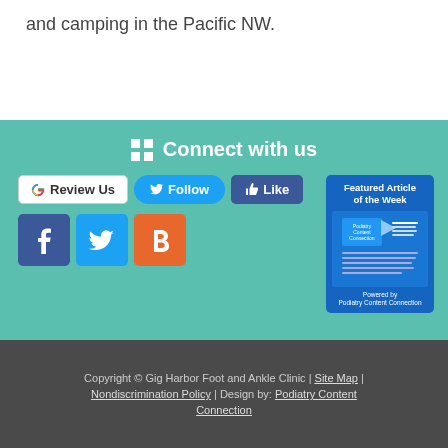and camping in the Pacific NW.
Connect with us
[Figure (other): Social media buttons: Google Review Us, Twitter Follow, Facebook Like, Facebook icon, Twitter icon, Blogger icon, and a Featured Article of the Week card powered by Podiatry Content Connection]
Copyright © Gig Harbor Foot and Ankle Clinic | Site Map | Nondiscrimination Policy | Design by: Podiatry Content Connection